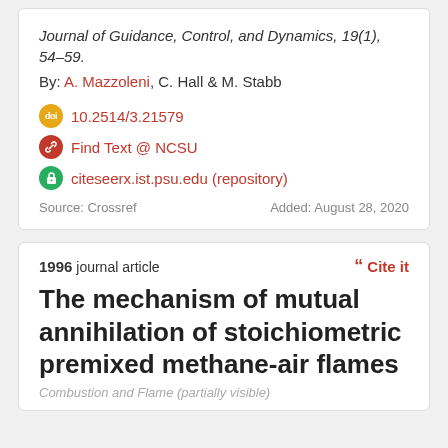Journal of Guidance, Control, and Dynamics, 19(1), 54–59.
By: A. Mazzoleni, C. Hall & M. Stabb
10.2514/3.21579
Find Text @ NCSU
citeseerx.ist.psu.edu (repository)
Source: Crossref   Added: August 28, 2020
1996 journal article
The mechanism of mutual annihilation of stoichiometric premixed methane-air flames